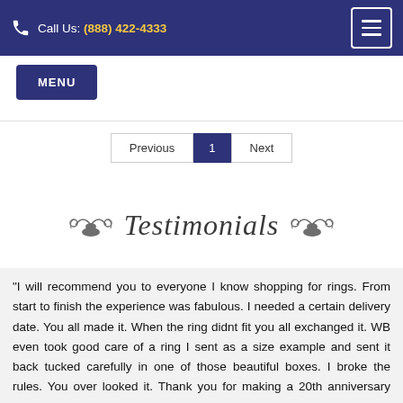Call Us: (888) 422-4333
MENU
Previous  1  Next
Testimonials
"I will recommend you to everyone I know shopping for rings. From start to finish the experience was fabulous. I needed a certain delivery date. You all made it. When the ring didnt fit you all exchanged it. WB even took good care of a ring I sent as a size example and sent it back tucked carefully in one of those beautiful boxes. I broke the rules. You over looked it. Thank you for making a 20th anniversary special and